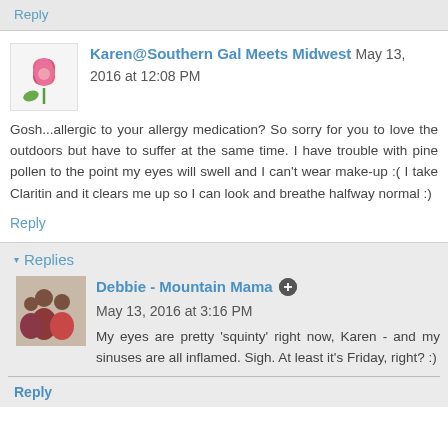Reply
Karen@Southern Gal Meets Midwest May 13, 2016 at 12:08 PM
Gosh...allergic to your allergy medication? So sorry for you to love the outdoors but have to suffer at the same time. I have trouble with pine pollen to the point my eyes will swell and I can't wear make-up :( I take Claritin and it clears me up so I can look and breathe halfway normal :)
Reply
Replies
Debbie - Mountain Mama May 13, 2016 at 3:16 PM
My eyes are pretty 'squinty' right now, Karen - and my sinuses are all inflamed. Sigh. At least it's Friday, right? :)
Reply